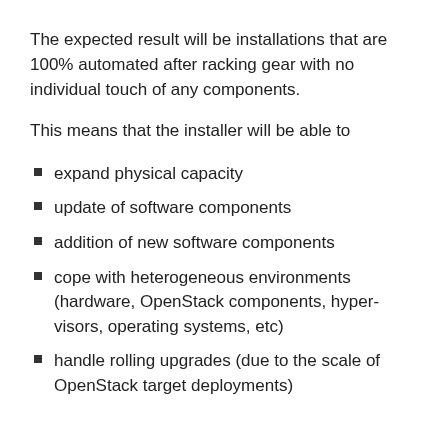The expected result will be installations that are 100% automated after racking gear with no individual touch of any components.
This means that the installer will be able to
expand physical capacity
update of software components
addition of new software components
cope with heterogeneous environments (hardware, OpenStack components, hyper-visors, operating systems, etc)
handle rolling upgrades (due to the scale of OpenStack target deployments)